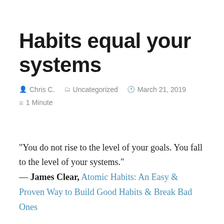Habits equal your systems
Chris C.   Uncategorized   March 21, 2019   1 Minute
“You do not rise to the level of your goals. You fall to the level of your systems.”
— James Clear, Atomic Habits: An Easy & Proven Way to Build Good Habits & Break Bad Ones
The way you will achieve any goal will depend on the daily rigor you build into your systems. Through these